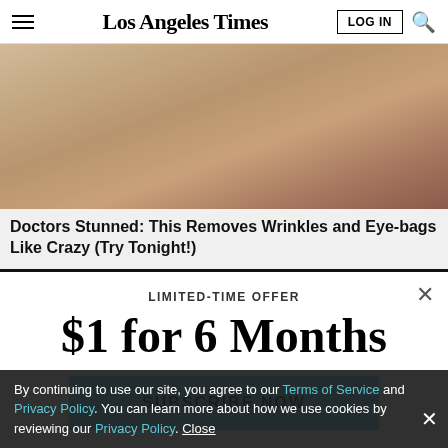Los Angeles Times | LOG IN | Search
[Figure (photo): Close-up photo of aged skin showing wrinkles around mouth and nose area]
Doctors Stunned: This Removes Wrinkles and Eye-bags Like Crazy (Try Tonight!)
LIMITED-TIME OFFER
$1 for 6 Months
SUBSCRIBE NOW
By continuing to use our site, you agree to our Terms of Service and Privacy Policy. You can learn more about how we use cookies by reviewing our Privacy Policy. Close